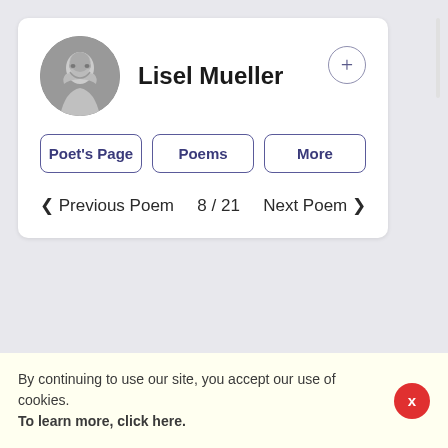[Figure (photo): Black and white circular portrait photo of Lisel Mueller, smiling woman]
Lisel Mueller
Poet's Page | Poems | More
< Previous Poem   8 / 21   Next Poem >
By continuing to use our site, you accept our use of cookies. To learn more, click here.